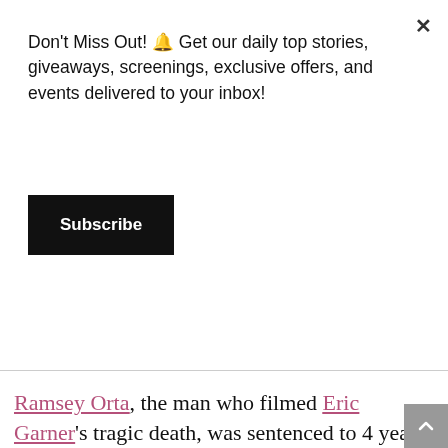Don't Miss Out! 🔔 Get our daily top stories, giveaways, screenings, exclusive offers, and events delivered to your inbox!
Subscribe
Ramsey Orta, the man who filmed Eric Garner's tragic death, was sentenced to 4 years in prison on Monday for possession of a weapon and drug